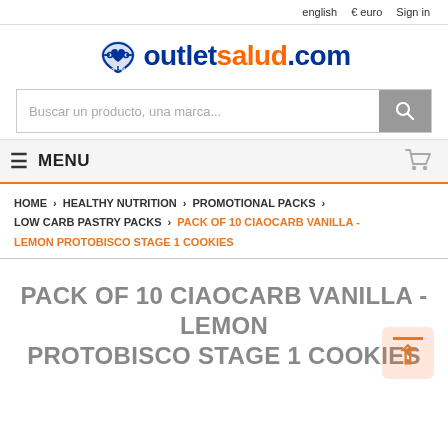english ▼   € euro ▼   Sign in
[Figure (logo): outletsalud.com logo with heart/headset icon]
Buscar un producto, una marca...
MENU
HOME > HEALTHY NUTRITION > PROMOTIONAL PACKS > LOW CARB PASTRY PACKS > PACK OF 10 CIAOCARB VANILLA - LEMON PROTOBISCO STAGE 1 COOKIES
PACK OF 10 CIAOCARB VANILLA - LEMON PROTOBISCO STAGE 1 COOKIES